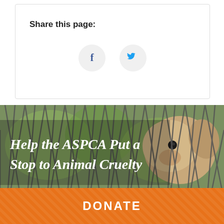Share this page:
[Figure (infographic): Social share buttons: Facebook (f) and Twitter (bird icon) in light gray circles]
[Figure (photo): Photo of a puppy behind a chain-link fence with green bokeh background, overlaid with text 'Help the ASPCA Put a Stop to Animal Cruelty' and an orange DONATE button]